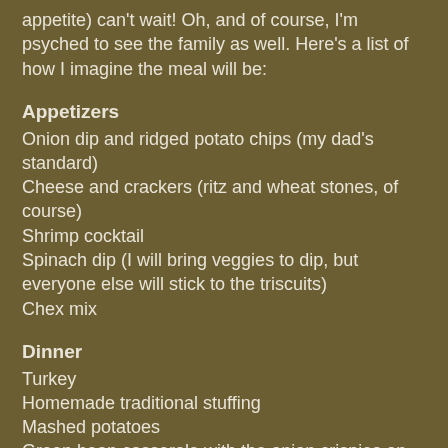appetite) can't wait! Oh, and of course, I'm psyched to see the family as well. Here's a list of how I imagine the meal will be:
Appetizers
Onion dip and ridged potato chips (my dad's standard)
Cheese and crackers (ritz and wheat stones, of course)
Shrimp cocktail
Spinach dip (I will bring veggies to dip, but everyone else will stick to the triscuits)
Chex mix
Dinner
Turkey
Homemade traditional stuffing
Mashed potatoes
Green bean casserole with the onion crispies on top (we don't always have this but my brother's girlfriend is making it and I'm HAPPY!!!)
Garden salad (with about 50 dressings options since everyone likes something different)
Candied yams